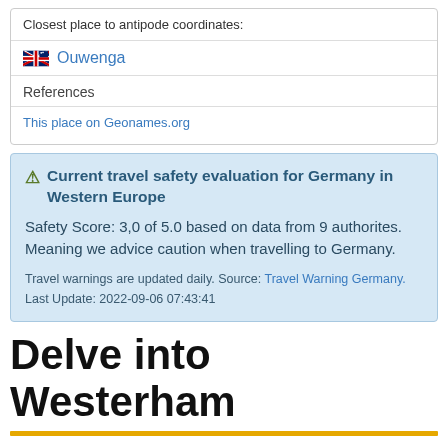Closest place to antipode coordinates:
🇦🇺 Ouwenga
References
This place on Geonames.org
⚠ Current travel safety evaluation for Germany in Western Europe
Safety Score: 3,0 of 5.0 based on data from 9 authorites. Meaning we advice caution when travelling to Germany.
Travel warnings are updated daily. Source: Travel Warning Germany.
Last Update: 2022-09-06 07:43:41
Delve into Westerham
Westerham in Upper Bavaria (Bavaria) is a city located